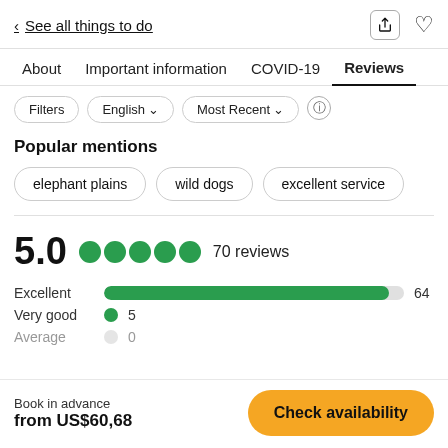< See all things to do
About  Important information  COVID-19  Reviews
Filters  English ▾  Most Recent ▾
Popular mentions
elephant plains
wild dogs
excellent service
5.0  ●●●●●  70 reviews
| Rating | Bar | Count |
| --- | --- | --- |
| Excellent | bar | 64 |
| Very good | dot | 5 |
| Average | dot | 0 |
Book in advance
from US$60,68
Check availability